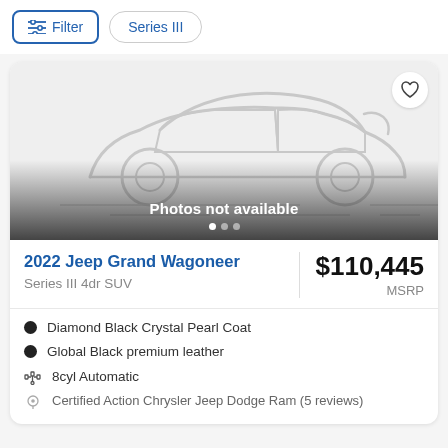[Figure (screenshot): Filter button with sliders icon and 'Series III' pill button filter]
[Figure (illustration): Placeholder car silhouette outline with 'Photos not available' text overlay and carousel dots]
2022 Jeep Grand Wagoneer
Series III 4dr SUV
$110,445 MSRP
Diamond Black Crystal Pearl Coat
Global Black premium leather
8cyl Automatic
Certified Action Chrysler Jeep Dodge Ram (5 reviews)